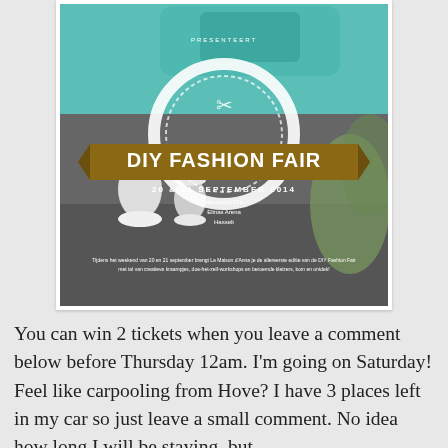[Figure (photo): DIY Fashion Fair promotional poster showing a vintage teal sewing machine with thread spools, featuring the event title 'DIY Fashion Fair', dates '20 & 21 September 2014', venue details, and descriptive text at the bottom.]
You can win 2 tickets when you leave a comment below before Thursday 12am. I'm going on Saturday! Feel like carpooling from Hove? I have 3 places left in my car so just leave a small comment. No idea how long I will be staying, but